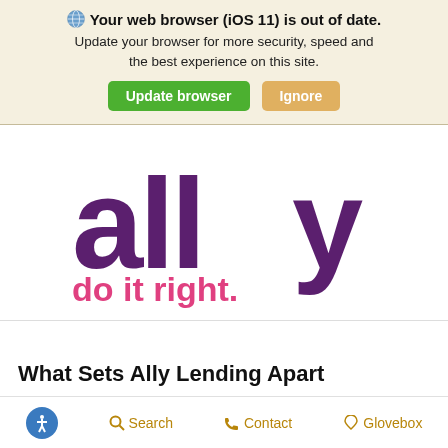🌐 Your web browser (iOS 11) is out of date. Update your browser for more security, speed and the best experience on this site. [Update browser] [Ignore]
[Figure (logo): Ally Financial logo: large purple lowercase text 'ally' with pink tagline 'do it right.']
What Sets Ally Lending Apart
Accessibility  Search  Contact  Glovebox